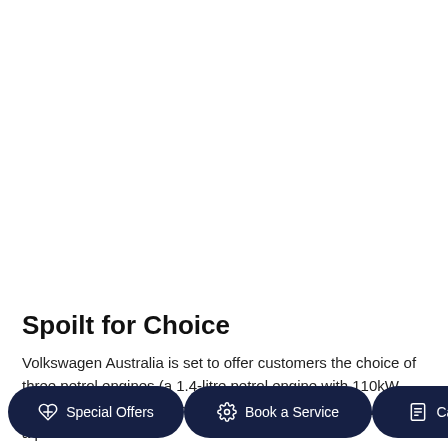[Figure (photo): Large white/blank area representing a car image (not visible in crop)]
Spoilt for Choice
Volkswagen Australia is set to offer customers the choice of three petrol engines (a 1.4-litre petrol engine with 110kW, and two 2.0-litre petrol motors with 132kW and 162kW) and a pair of 2.0-litre diesel motors featuring 110kW and 140kW ... systems.
Special Offers | Book a Service | Calculator